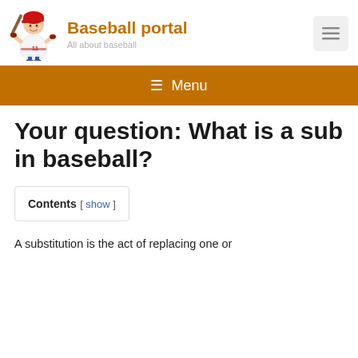Baseball portal — All about baseball
[Figure (illustration): Cartoon baseball player batter in red uniform swinging a bat]
Your question: What is a sub in baseball?
Contents [ show ]
A substitution is the act of replacing one or